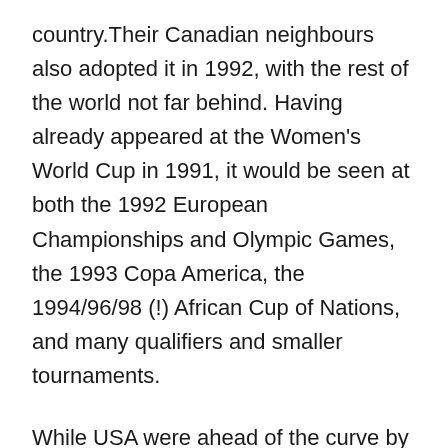country.Their Canadian neighbours also adopted it in 1992, with the rest of the world not far behind. Having already appeared at the Women's World Cup in 1991, it would be seen at both the 1992 European Championships and Olympic Games, the 1993 Copa America, the 1994/96/98 (!) African Cup of Nations, and many qualifiers and smaller tournaments.
While USA were ahead of the curve by ten months when they first wore the kit in June 1991, and would continue to to use it for nearly three years, the record amount of time in the design would end up going to a European